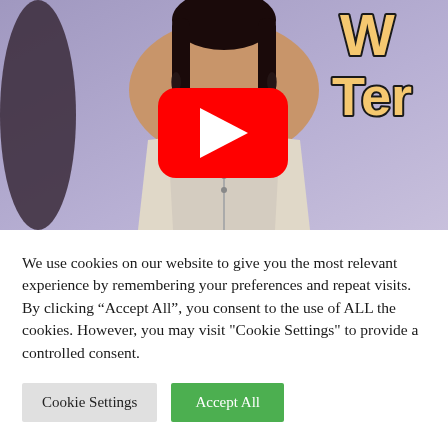[Figure (screenshot): YouTube video thumbnail showing a woman in a white corset against a purple background, with a YouTube play button overlay and partial text 'Te' visible in the upper right corner]
We use cookies on our website to give you the most relevant experience by remembering your preferences and repeat visits. By clicking “Accept All”, you consent to the use of ALL the cookies. However, you may visit "Cookie Settings" to provide a controlled consent.
Cookie Settings
Accept All